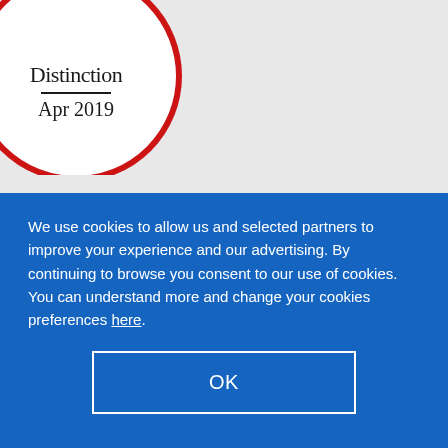[Figure (logo): Circular badge with red border showing 'Distinction' text and date 'Apr 2019']
About
North East Heating Solutions is a family run business
We use cookies to allow us and selected partners to improve your experience and our advertising. By continuing to browse you consent to our use of cookies. You can understand more and change your cookies preferences here.
OK